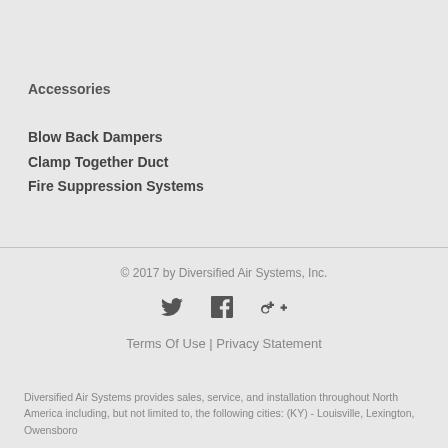Accessories
Blow Back Dampers
Clamp Together Duct
Fire Suppression Systems
© 2017 by Diversified Air Systems, Inc.
Terms Of Use | Privacy Statement
Diversified Air Systems provides sales, service, and installation throughout North America including, but not limited to, the following cities: (KY) - Louisville, Lexington, Owensboro